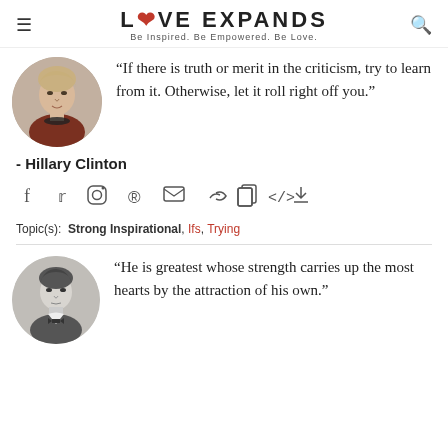LOVE EXPANDS — Be Inspired. Be Empowered. Be Love.
[Figure (photo): Circular portrait photo of Hillary Clinton]
“If there is truth or merit in the criticism, try to learn from it. Otherwise, let it roll right off you.”
- Hillary Clinton
[Figure (infographic): Social share icons: facebook, twitter, instagram, pinterest, mail, link, copy, embed, download]
Topic(s):  Strong Inspirational, Ifs, Trying
[Figure (photo): Circular black-and-white portrait photo of a man in 19th century attire]
“He is greatest whose strength carries up the most hearts by the attraction of his own.”